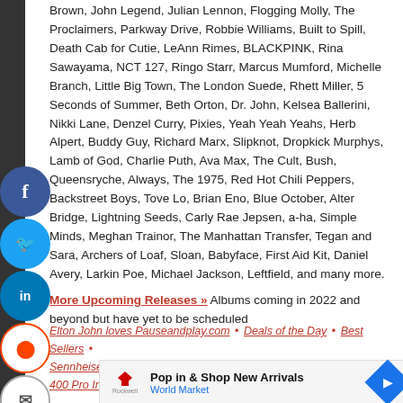Brown, John Legend, Julian Lennon, Flogging Molly, The Proclaimers, Parkway Drive, Robbie Williams, Built to Spill, Death Cab for Cutie, LeAnn Rimes, BLACKPINK, Rina Sawayama, NCT 127, Ringo Starr, Marcus Mumford, Michelle Branch, Little Big Town, The London Suede, Rhett Miller, 5 Seconds of Summer, Beth Orton, Dr. John, Kelsea Ballerini, Nikki Lane, Denzel Curry, Pixies, Yeah Yeah Yeahs, Herb Alpert, Buddy Guy, Richard Marx, Slipknot, Dropkick Murphys, Lamb of God, Charlie Puth, Ava Max, The Cult, Bush, Queensryche, Always, The 1975, Red Hot Chili Peppers, Backstreet Boys, Tove Lo, Brian Eno, Blue October, Alter Bridge, Lightning Seeds, Carly Rae Jepsen, a-ha, Simple Minds, Meghan Trainor, The Manhattan Transfer, Tegan and Sara, Archers of Loaf, Sloan, Babyface, First Aid Kit, Daniel Avery, Larkin Poe, Michael Jackson, Leftfield, and many more.
More Upcoming Releases » Albums coming in 2022 and beyond but have yet to be scheduled
Elton John loves Pauseandplay.com · Deals of the Day · Best Sellers · Sennheiser MOMENTUM 2 Wireless Over-Ear Headphones · IE 400 Pro In-Ear Monitors
[Figure (infographic): Ad banner: Pop in & Shop New Arrivals, World Market]